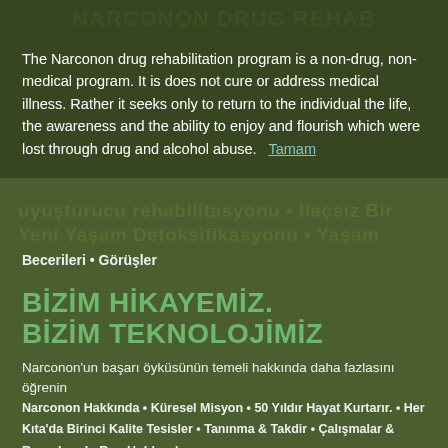The Narconon drug rehabilitation program is a non-drug, non-medical program. It is does not cure or address medical illness. Rather it seeks only to return to the individual the life, the awareness and the ability to enjoy and flourish which were lost through drug and alcohol abuse.   Tamam
Becerileri • Görüşler
BİZİM HİKAYEMİZ. BİZİM TEKNOLOJİMİZ
Narconon'un başarı öyküsünün temeli hakkında daha fazlasını öğrenin
Narconon Hakkında • Küresel Misyon • 50 Yıldır Hayat Kurtarır. • Her Kıta'da Birinci Kalite Tesisler • Tanınma & Takdir • Çalışmalar & Raporlar • L. Ron Hubbard
EK BİLGİ
Danışmanlar, uyuşturucu rehabilitasyon uzmanları ve ilgili aile üyeleri için
Daha Fazla Bilgi • Program Bilgi Portföyü • Daha Fazla Bilgi